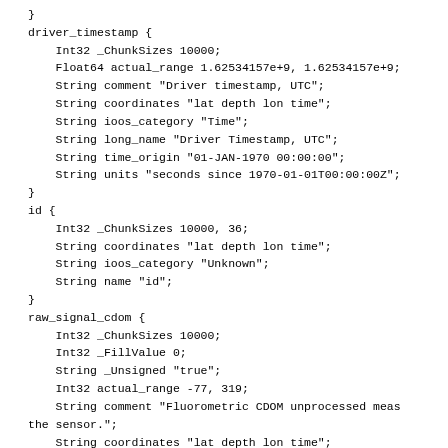}
driver_timestamp {
    Int32 _ChunkSizes 10000;
    Float64 actual_range 1.62534157e+9, 1.62534157e+9;
    String comment "Driver timestamp, UTC";
    String coordinates "lat depth lon time";
    String ioos_category "Time";
    String long_name "Driver Timestamp, UTC";
    String time_origin "01-JAN-1970 00:00:00";
    String units "seconds since 1970-01-01T00:00:00Z";
}
id {
    Int32 _ChunkSizes 10000, 36;
    String coordinates "lat depth lon time";
    String ioos_category "Unknown";
    String name "id";
}
raw_signal_cdom {
    Int32 _ChunkSizes 10000;
    Int32 _FillValue 0;
    String _Unsigned "true";
    Int32 actual_range -77, 319;
    String comment "Fluorometric CDOM unprocessed meas
the sensor.";
    String coordinates "lat depth lon time";
    String data_product_identifier "CDOMFLO_L0";